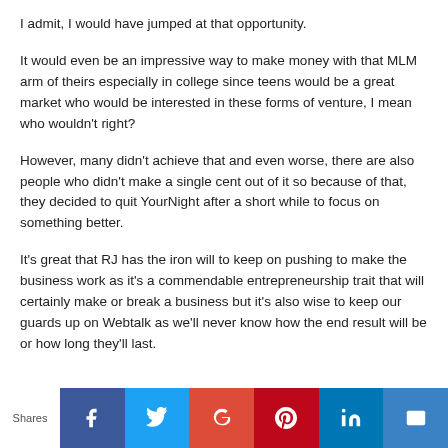I admit, I would have jumped at that opportunity.
It would even be an impressive way to make money with that MLM arm of theirs especially in college since teens would be a great market who would be interested in these forms of venture, I mean who wouldn't right?
However, many didn't achieve that and even worse, there are also people who didn't make a single cent out of it so because of that, they decided to quit YourNight after a short while to focus on something better.
It's great that RJ has the iron will to keep on pushing to make the business work as it's a commendable entrepreneurship trait that will certainly make or break a business but it's also wise to keep our guards up on Webtalk as we'll never know how the end result will be or how long they'll last.
Shares | Facebook | Twitter | Google+ | Pinterest | LinkedIn | Email